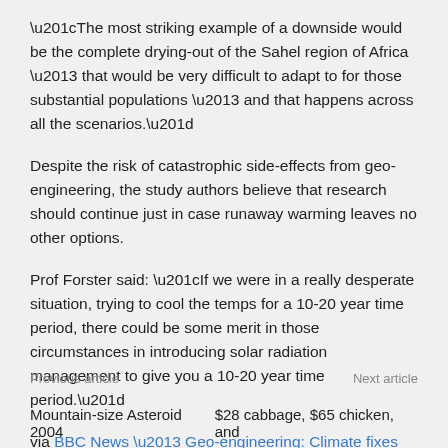“The most striking example of a downside would be the complete drying-out of the Sahel region of Africa – that would be very difficult to adapt to for those substantial populations – and that happens across all the scenarios.”
Despite the risk of catastrophic side-effects from geo-engineering, the study authors believe that research should continue just in case runaway warming leaves no other options.
Prof Forster said: “If we were in a really desperate situation, trying to cool the temps for a 10-20 year time period, there could be some merit in those circumstances in introducing solar radiation management to give you a 10-20 year time period.”
via BBC News – Geo-engineering: Climate fixes ‘could harm billions’.
Previous article    Next article
Mountain-size Asteroid 2004    $28 cabbage, $65 chicken, and